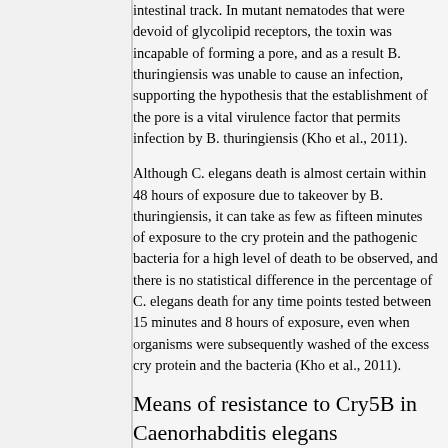intestinal track. In mutant nematodes that were devoid of glycolipid receptors, the toxin was incapable of forming a pore, and as a result B. thuringiensis was unable to cause an infection, supporting the hypothesis that the establishment of the pore is a vital virulence factor that permits infection by B. thuringiensis (Kho et al., 2011).
Although C. elegans death is almost certain within 48 hours of exposure due to takeover by B. thuringiensis, it can take as few as fifteen minutes of exposure to the cry protein and the pathogenic bacteria for a high level of death to be observed, and there is no statistical difference in the percentage of C. elegans death for any time points tested between 15 minutes and 8 hours of exposure, even when organisms were subsequently washed of the excess cry protein and the bacteria (Kho et al., 2011).
Means of resistance to Cry5B in Caenorhabditis elegans